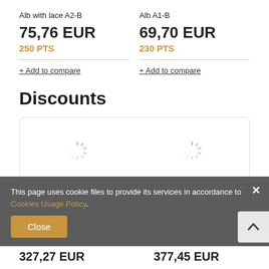Alb with lace A2-B
75,76 EUR
250 PTS
+ Add to compare
Alb A1-B
69,70 EUR
230 PTS
+ Add to compare
Discounts
[Figure (screenshot): Loading spinner icons inside a bordered box]
This page uses cookie files to provide its services in accordance to Cookies Usage Policy.
Close
327,27 EUR
377,45 EUR